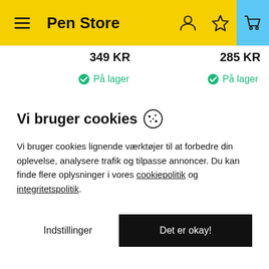Pen Store
349 KR   285 KR
✓ På lager   ✓ På lager
Vi bruger cookies 🍪
Vi bruger cookies lignende værktøjer til at forbedre din oplevelse, analysere trafik og tilpasse annoncer. Du kan finde flere oplysninger i vores cookiepolitik og integritetspolitik.
Indstillinger
Det er okay!